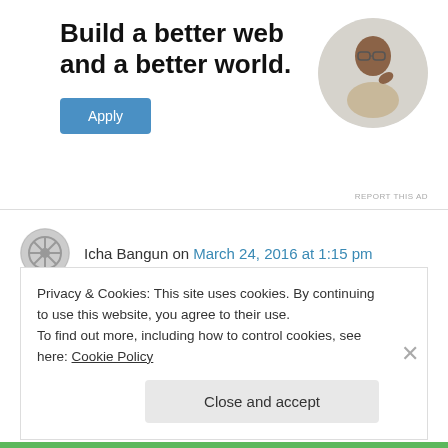Build a better web and a better world.
[Figure (illustration): Blue 'Apply' button]
[Figure (photo): Circular portrait photo of a man sitting at a desk, looking upward and thinking]
REPORT THIS AD
Icha Bangun on March 24, 2016 at 1:15 pm
What a great journey nakweee 😊
Tak ku sangka kau jauh ke Ternate utk mengejar
Privacy & Cookies: This site uses cookies. By continuing to use this website, you agree to their use.
To find out more, including how to control cookies, see here: Cookie Policy
Close and accept